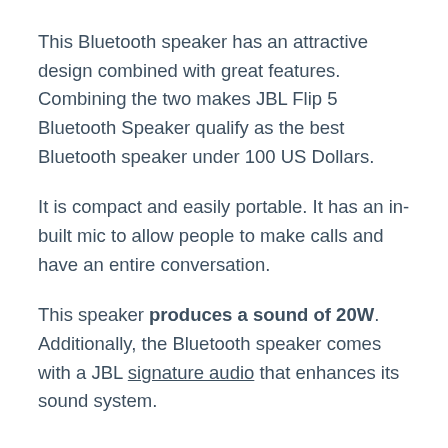This Bluetooth speaker has an attractive design combined with great features. Combining the two makes JBL Flip 5 Bluetooth Speaker qualify as the best Bluetooth speaker under 100 US Dollars.
It is compact and easily portable. It has an in-built mic to allow people to make calls and have an entire conversation.
This speaker produces a sound of 20W. Additionally, the Bluetooth speaker comes with a JBL signature audio that enhances its sound system.